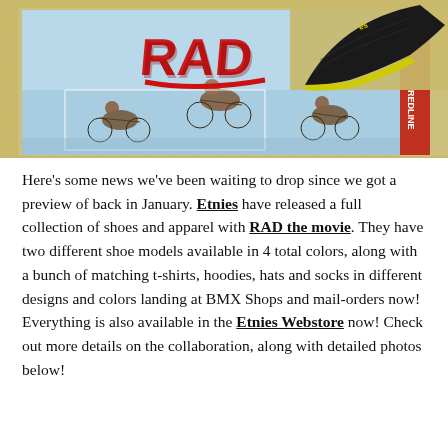[Figure (photo): Photo showing the RAD movie poster/book with BMX riders and the RAD logo in red graffiti text, alongside a black Etnies shoe with yellow accents, on a sandy/gravel background.]
Here's some news we've been waiting to drop since we got a preview of back in January. Etnies have released a full collection of shoes and apparel with RAD the movie. They have two different shoe models available in 4 total colors, along with a bunch of matching t-shirts, hoodies, hats and socks in different designs and colors landing at BMX Shops and mail-orders now! Everything is also available in the Etnies Webstore now! Check out more details on the collaboration, along with detailed photos below!